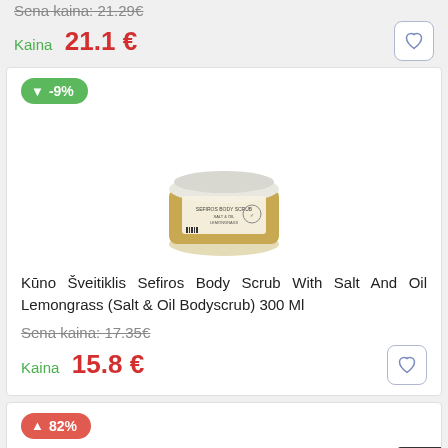Sena kaina: 21.29€
Kaina  21.1 €
↓ -9%
[Figure (photo): Jar of Sefiros Body Scrub with salt and oil, lemongrass scent, 300ml, with a white lid and product label]
Kūno Šveitiklis Sefiros Body Scrub With Salt And Oil Lemongrass (Salt & Oil Bodyscrub) 300 Ml
Sena kaina: 17.35€
Kaina  15.8 €
↑ 82%
[Figure (photo): Partially visible product image at bottom of page]